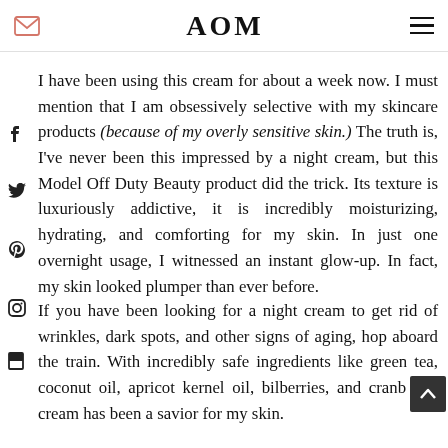AOM
I have been using this cream for about a week now. I must mention that I am obsessively selective with my skincare products (because of my overly sensitive skin.) The truth is, I've never been this impressed by a night cream, but this Model Off Duty Beauty product did the trick. Its texture is luxuriously addictive, it is incredibly moisturizing, hydrating, and comforting for my skin. In just one overnight usage, I witnessed an instant glow-up. In fact, my skin looked plumper than ever before.
If you have been looking for a night cream to get rid of wrinkles, dark spots, and other signs of aging, hop aboard the train. With incredibly safe ingredients like green tea, coconut oil, apricot kernel oil, bilberries, and cranb... this cream has been a savior for my skin.